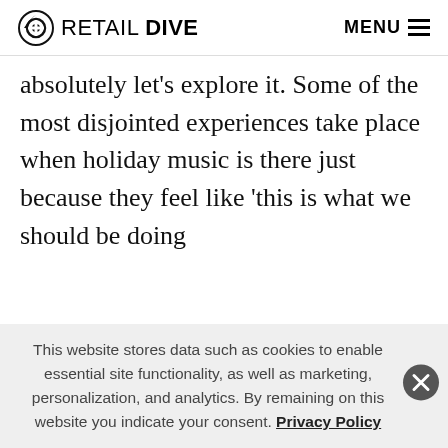RETAIL DIVE  MENU
absolutely let's explore it. Some of the most disjointed experiences take place when holiday music is there just because they feel like 'this is what we should be doing
[Figure (screenshot): Modal popup from Retail Dive showing a logo, close X button, headline 'New Live Event: Signed, Sealed, Delivered', and body text about holiday season journalism event]
This website stores data such as cookies to enable essential site functionality, as well as marketing, personalization, and analytics. By remaining on this website you indicate your consent. Privacy Policy